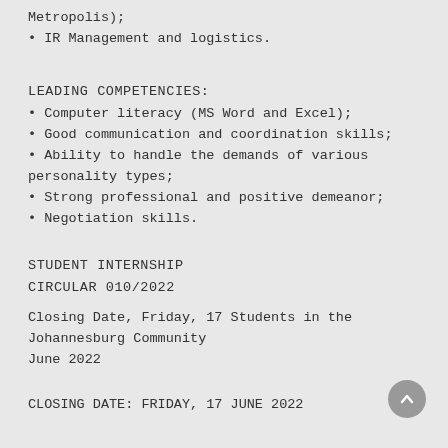Metropolis);
• IR Management and logistics.
LEADING COMPETENCIES:
• Computer literacy (MS Word and Excel);
• Good communication and coordination skills;
• Ability to handle the demands of various personality types;
• Strong professional and positive demeanor;
• Negotiation skills.
STUDENT INTERNSHIP
CIRCULAR 010/2022
Closing Date, Friday, 17 Students in the Johannesburg Community
June 2022
CLOSING DATE: FRIDAY, 17 JUNE 2022